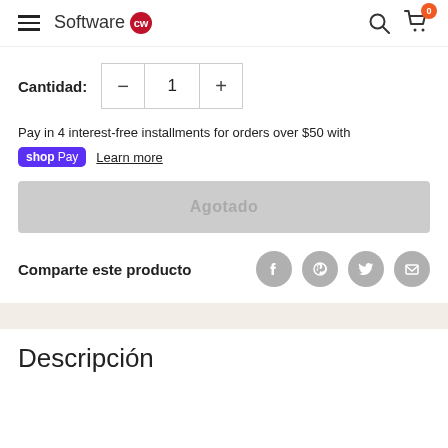Software CW — navigation header with search and cart
Cantidad: 1
Pay in 4 interest-free installments for orders over $50 with shopPay Learn more
Agotado
Comparte este producto
Descripción